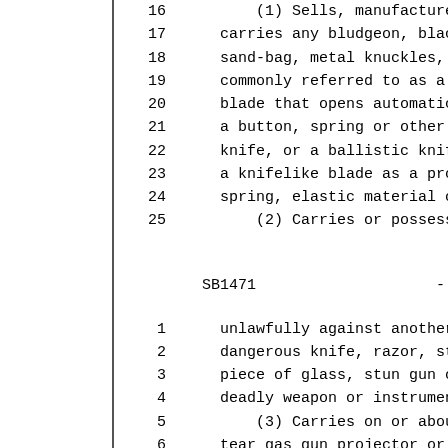16        (1) Sells, manufactures
17        carries any bludgeon, black
18        sand-bag, metal knuckles, t
19        commonly referred to as a s
20        blade that opens automatica
21        a button, spring or other d
22        knife, or a ballistic knife
23        a knifelike blade as a proj
24        spring, elastic material or
25            (2) Carries or possesse
SB1471                    - 3 -
1         unlawfully against another,
2         dangerous knife, razor, sti
3         piece of glass, stun gun or
4         deadly weapon or instrument
5             (3) Carries on or about
6         tear gas gun projector or h